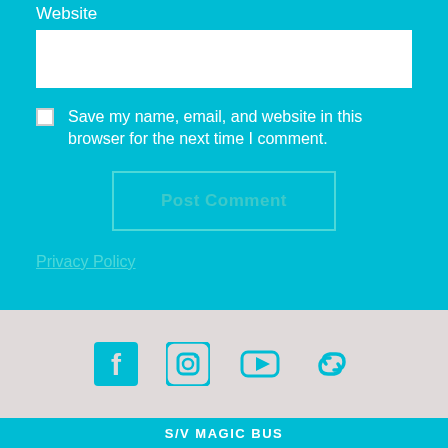Website
Save my name, email, and website in this browser for the next time I comment.
Post Comment
Privacy Policy
[Figure (other): Social media icons: Facebook, Instagram, YouTube, and a link icon, displayed in teal on a light gray background]
S/V MAGIC BUS